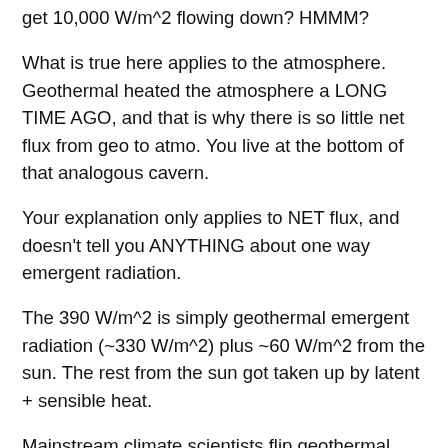get 10,000 W/m^2 flowing down? HMMM?
What is true here applies to the atmosphere. Geothermal heated the atmosphere a LONG TIME AGO, and that is why there is so little net flux from geo to atmo. You live at the bottom of that analogous cavern.
Your explanation only applies to NET flux, and doesn't tell you ANYTHING about one way emergent radiation.
The 390 W/m^2 is simply geothermal emergent radiation (~330 W/m^2) plus ~60 W/m^2 from the sun. The rest from the sun got taken up by latent + sensible heat.
Mainstream climate scientists flip geothermal and make it backradiation from the atmosphere